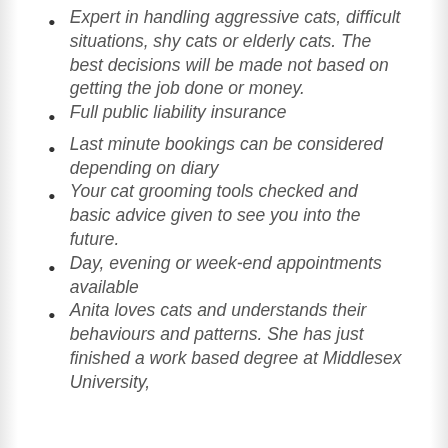Expert in handling aggressive cats, difficult situations, shy cats or elderly cats. The best decisions will be made not based on getting the job done or money.
Full public liability insurance
Last minute bookings can be considered depending on diary
Your cat grooming tools checked and basic advice given to see you into the future.
Day, evening or week-end appointments available
Anita loves cats and understands their behaviours and patterns. She has just finished a work based degree at Middlesex University,